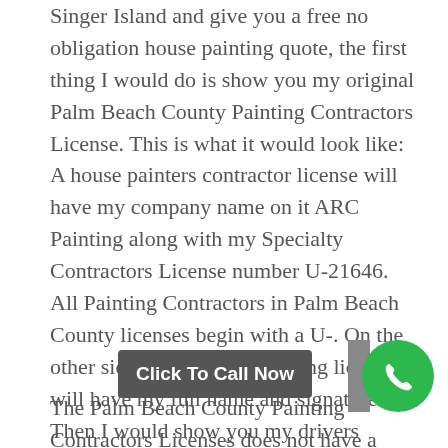Singer Island and give you a free no obligation house painting quote, the first thing I would do is show you my original Palm Beach County Painting Contractors License. This is what it would look like: A house painters contractor license will have my company name on it ARC Painting along with my Specialty Contractors License number U-21646. All Painting Contractors in Palm Beach County licenses begin with a U-. On the other side of my house painting license it will have my full name and signature. Then I would show you my drivers license so that you know I am the one who actually holds the painting contractors license.
The Palm Beach County Painting Contractors Licenses does not have a photo I.D. on them so it is very easy for non-licensed painting contractor to use another painting company's license. So beware...
If you were to come across a person who does not have a